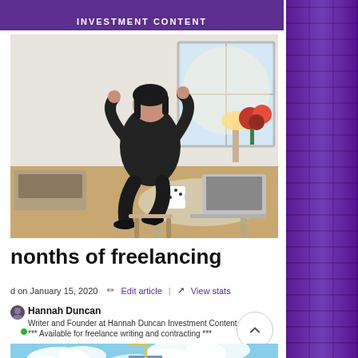INVESTMENT CONTENT
[Figure (photo): Woman in black sitting at a table with a laptop and coffee mug in an apartment interior]
nonths of freelancing
d on January 15, 2020  ✏ Edit article  |  ↗ View stats
Hannah Duncan
Writer and Founder at Hannah Duncan Investment Content I *** Available for freelance writing and contracting ***
[Figure (photo): City skyline with tall building under blue sky with clouds]